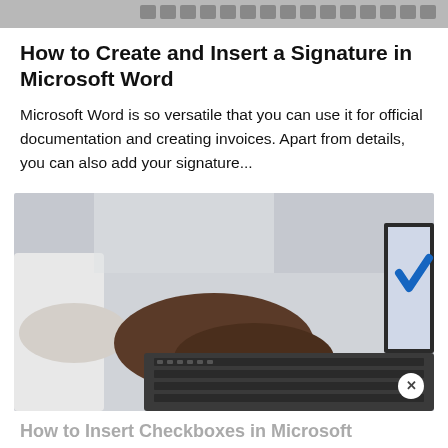[Figure (screenshot): Top strip showing a partial image of a keyboard or toolbar, dark gray/black tones]
How to Create and Insert a Signature in Microsoft Word
Microsoft Word is so versatile that you can use it for official documentation and creating invoices. Apart from details, you can also add your signature...
[Figure (photo): Hands typing on a laptop keyboard, person wearing a white top, laptop screen shows a blue checkmark, close button (x) at bottom right]
How to Insert Checkboxes in Microsoft